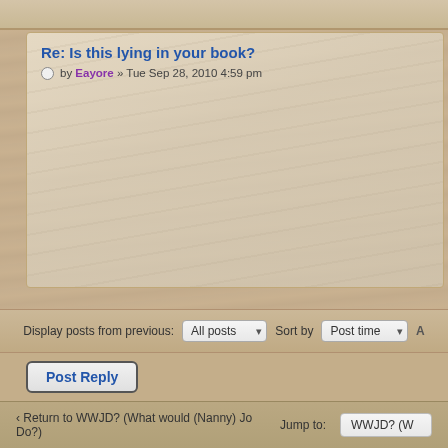Re: Is this lying in your book?
by Eayore » Tue Sep 28, 2010 4:59 pm
Display posts from previous: All posts  Sort by Post time
Post Reply
Return to WWJD? (What would (Nanny) Jo Do?)
Jump to: WWJD? (W